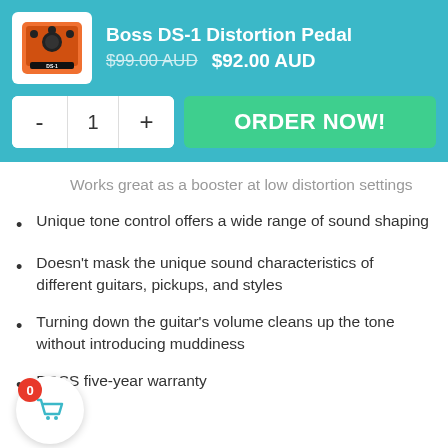Boss DS-1 Distortion Pedal
$99.00 AUD  $92.00 AUD
Works great as a booster at low distortion settings
Unique tone control offers a wide range of sound shaping
Doesn't mask the unique sound characteristics of different guitars, pickups, and styles
Turning down the guitar's volume cleans up the tone without introducing muddiness
BOSS five-year warranty